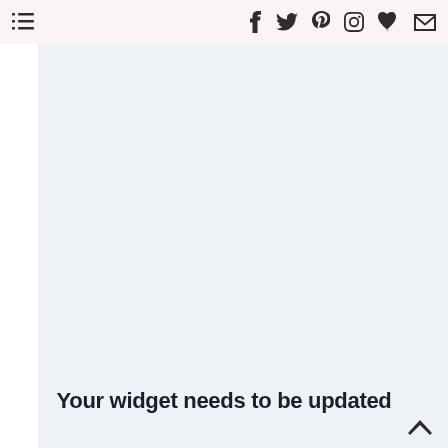≡ f t p ♡ ✉
[Figure (screenshot): Light blue-gray empty content area placeholder]
Your widget needs to be updated